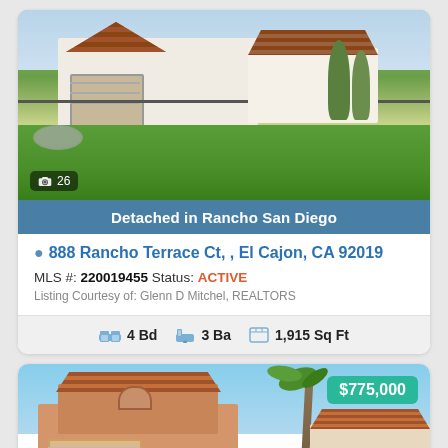[Figure (photo): Exterior photo of a white stucco detached home with brown tile roof, two-car garage, green lawn, trees and shrubs. Photo counter badge showing camera icon and 26.]
Detached in Rancho San Diego
888 Rancho Terrace Ct, , El Cajon, CA 92019
MLS #: 220019455 Status: ACTIVE
Listing Courtesy of: Glenn D Mitchel, REALTORS
4 Bd  3 Ba  1,915 Sq Ft
[Figure (photo): Exterior photo of a two-story Spanish-style home with terracotta tile roof, two-car garage, palm trees visible, $775,000 price badge in top right corner.]